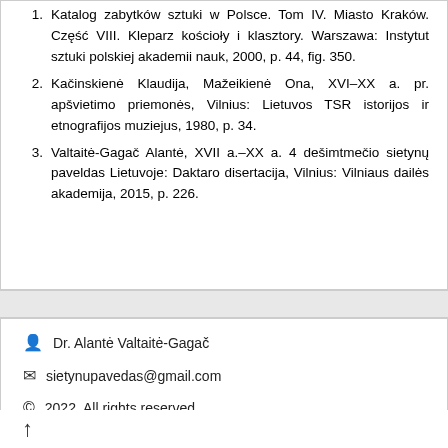1. Katalog zabytków sztuki w Polsce. Tom IV. Miasto Kraków. Część VIII. Kleparz kościoły i klasztory. Warszawa: Instytut sztuki polskiej akademii nauk, 2000, p. 44, fig. 350.
2. Kačinskienė Klaudija, Mažeikienė Ona, XVI–XX a. pr. apšvietimo priemonės, Vilnius: Lietuvos TSR istorijos ir etnografijos muziejus, 1980, p. 34.
3. Valtaitė-Gagač Alantė, XVII a.–XX a. 4 dešimtmečio sietynų paveldas Lietuvoje: Daktaro disertacija, Vilnius: Vilniaus dailės akademija, 2015, p. 226.
Dr. Alantė Valtaitė-Gagač
sietynupavedas@gmail.com
© 2022  All rights reserved